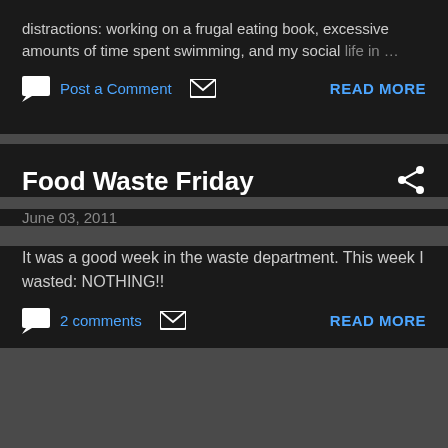distractions: working on a frugal eating book, excessive amounts of time spent swimming, and my social life in …
Post a Comment  READ MORE
Food Waste Friday
June 03, 2011
It was a good week in the waste department. This week I wasted: NOTHING!!
2 comments  READ MORE